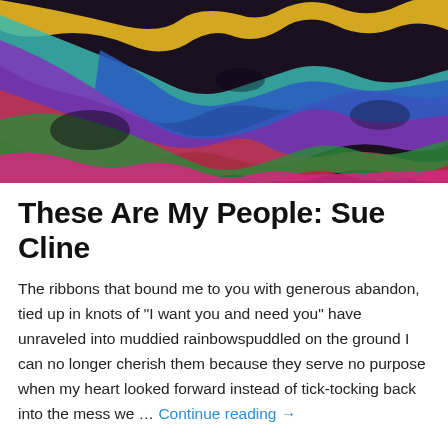[Figure (photo): Close-up photograph of colorful satin ribbons (purple, teal, red, blue, magenta, green, yellow) intertwined and overlapping each other]
These Are My People: Sue Cline
The ribbons that bound me to you with generous abandon, tied up in knots of "I want you and need you" have unraveled into muddied rainbowspuddled on the ground I can no longer cherish them because they serve no purpose when my heart looked forward instead of tick-tocking back into the mess we … Continue reading →